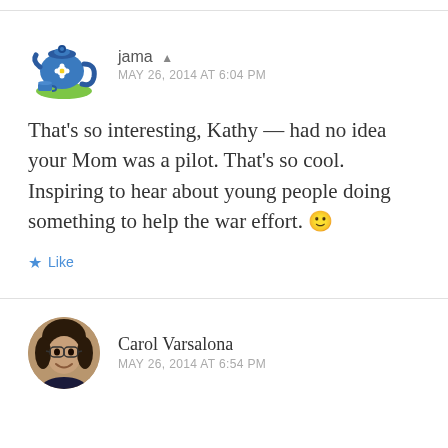jama ▲
MAY 26, 2014 AT 6:04 PM
That's so interesting, Kathy — had no idea your Mom was a pilot. That's so cool. Inspiring to hear about young people doing something to help the war effort. 🙂
★ Like
Carol Varsalona
MAY 26, 2014 AT 6:54 PM